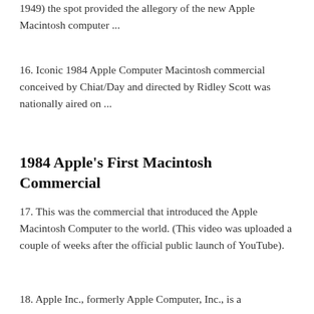1949) the spot provided the allegory of the new Apple Macintosh computer ...
16. Iconic 1984 Apple Computer Macintosh commercial conceived by Chiat/Day and directed by Ridley Scott was nationally aired on ...
1984 Apple's First Macintosh Commercial
17. This was the commercial that introduced the Apple Macintosh Computer to the world. (This video was uploaded a couple of weeks after the official public launch of YouTube).
18. Apple Inc., formerly Apple Computer, Inc., is a